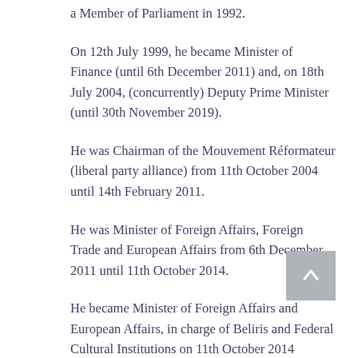a Member of Parliament in 1992.
On 12th July 1999, he became Minister of Finance (until 6th December 2011) and, on 18th July 2004, (concurrently) Deputy Prime Minister (until 30th November 2019).
He was Chairman of the Mouvement Réformateur (liberal party alliance) from 11th October 2004 until 14th February 2011.
He was Minister of Foreign Affairs, Foreign Trade and European Affairs from 6th December 2011 until 11th October 2014.
He became Minister of Foreign Affairs and European Affairs, in charge of Beliris and Federal Cultural Institutions on 11th October 2014